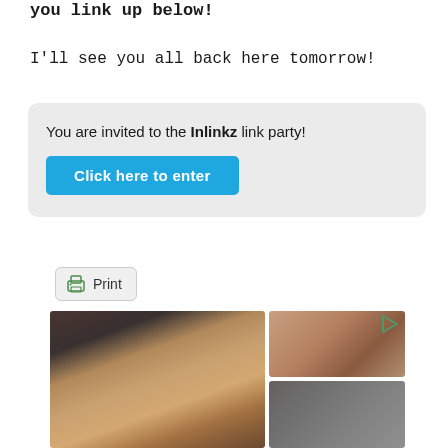you link up below!
I'll see you all back here tomorrow!
You are invited to the Inlinkz link party!
Click here to enter
[Figure (screenshot): Print button with printer icon]
[Figure (photo): Advertisement showing sandals/footwear — a large image of strappy gold flat sandals worn with dark jeans and ankle bracelet, with two smaller images of brown sandals on the right side]